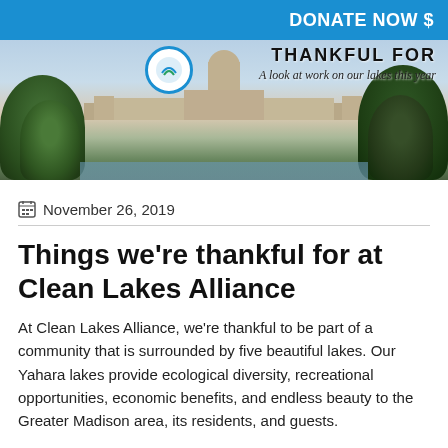DONATE NOW $
[Figure (photo): Banner image showing a cityscape with a capitol dome, trees in the foreground, and overlay text reading 'THANKFUL FOR - A look at work on our lakes this year']
November 26, 2019
Things we're thankful for at Clean Lakes Alliance
At Clean Lakes Alliance, we're thankful to be part of a community that is surrounded by five beautiful lakes. Our Yahara lakes provide ecological diversity, recreational opportunities, economic benefits, and endless beauty to the Greater Madison area, its residents, and guests.